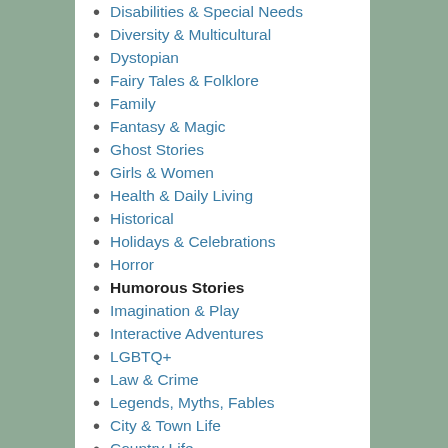Disabilities & Special Needs
Diversity & Multicultural
Dystopian
Fairy Tales & Folklore
Family
Fantasy & Magic
Ghost Stories
Girls & Women
Health & Daily Living
Historical
Holidays & Celebrations
Horror
Humorous Stories
Imagination & Play
Interactive Adventures
LGBTQ+
Law & Crime
Legends, Myths, Fables
City & Town Life
Country Life
Farm & Ranch Life
Love & Romance
Mathematics
Media Tie-In
Mermaids & Mermen